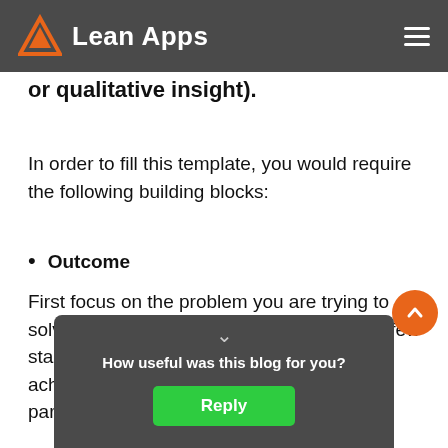Lean Apps
or qualitative insight).
In order to fill this template, you would require the following building blocks:
Outcome
First focus on the problem you are trying to solve. You will see that you already have a few standard, larger outcomes that you want to achieve [smaller parts…]
How useful was this blog for you?
Reply